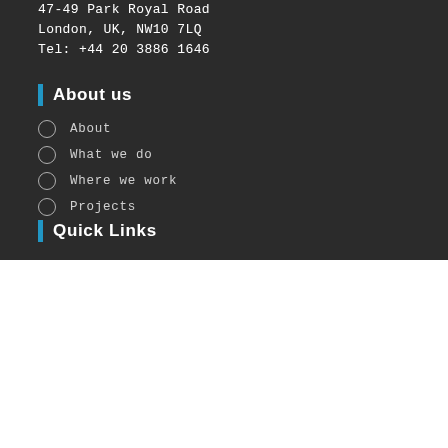47-49 Park Royal Road
London, UK, NW10 7LQ
Tel: +44 20 3886 1646
About us
About
What we do
Where we work
Projects
Quick Links
We respect your privacy
We use cookies on our website to give you the most relevant experience by remembering your preferences and repeat visits. By clicking “Accept”, you consent to the use of ALL the cookies.
Cookie settings
ACCEPT